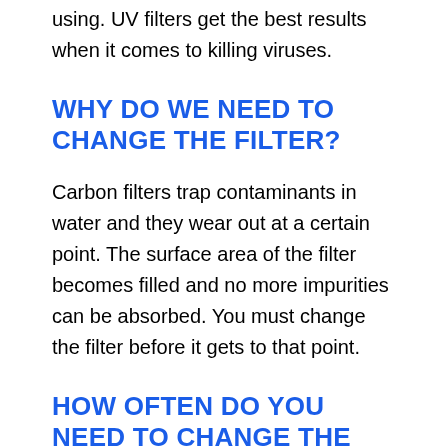using. UV filters get the best results when it comes to killing viruses.
WHY DO WE NEED TO CHANGE THE FILTER?
Carbon filters trap contaminants in water and they wear out at a certain point. The surface area of the filter becomes filled and no more impurities can be absorbed. You must change the filter before it gets to that point.
HOW OFTEN DO YOU NEED TO CHANGE THE FILTER?
The recommended frequency of filter changing